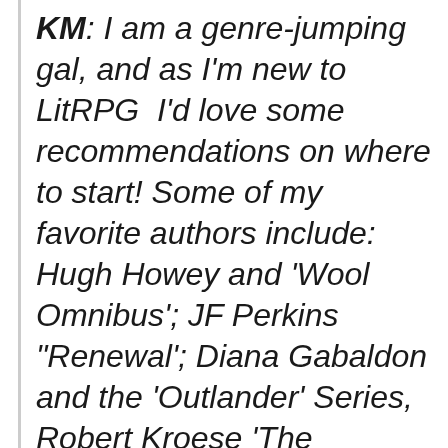KM: I am a genre-jumping gal, and as I'm new to LitRPG  I'd love some recommendations on where to start! Some of my favorite authors include: Hugh Howey and ‘Wool Omnibus’; JF Perkins “Renewal’; Diana Gabaldon and the ‘Outlander’ Series, Robert Kroese ‘The Chicolini Incident’, and a host of other authors like Janet